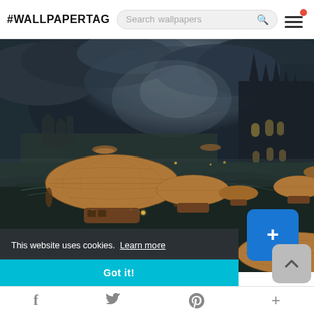#WALLPAPERTAG
[Figure (illustration): Fantasy steampunk digital artwork showing multiple airships (dirigibles) flying over a dark, stormy cityscape with a gothic cathedral on the right. Dark clouds, mist, and dramatic lighting create a moody atmosphere.]
This website uses cookies.  Learn more
Got it!
f  [twitter bird]  [pinterest P]  +